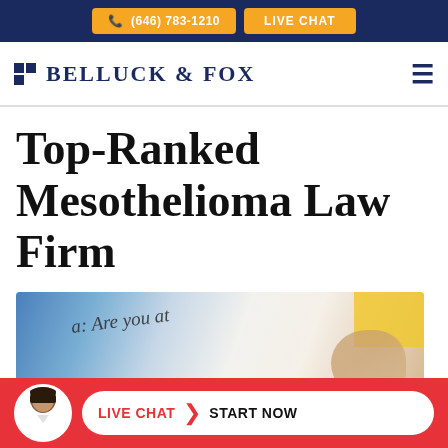(646) 783-1210   LIVE CHAT
[Figure (logo): Belluck & Fox law firm logo with blue grid squares and serif text]
Top-Ranked Mesothelioma Law Firm
[Figure (photo): Close-up photo of a document reading 'Mesothelioma: Are you at' with a hand holding a yellow highlighted document]
LIVE CHAT  START NOW